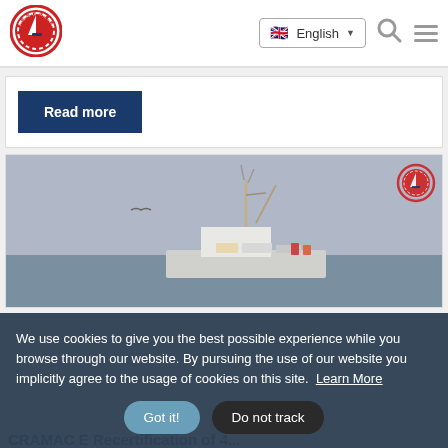[Figure (logo): Friend of the Sea circular logo with red border and sailboat]
English
Read more
[Figure (photo): A fishing/research vessel on the sea with antennas/masts, bird in sky, grey/blue tones, Friend of the Sea logo watermark in top right corner]
We use cookies to give you the best possible experience while you browse through our website. By pursuing the use of our website you implicitly agree to the usage of cookies on this site.  Learn More
Got it!
Do not track
CRAMAC E. Recertification of 4...